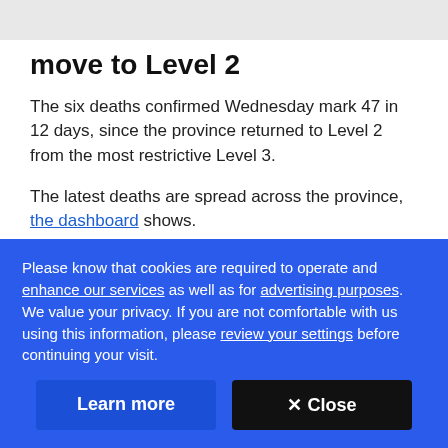move to Level 2
The six deaths confirmed Wednesday mark 47 in 12 days, since the province returned to Level 2 from the most restrictive Level 3.
The latest deaths are spread across the province, the dashboard shows.
Please know that cookies are required to operate and enhance our services as well as for advertising purposes. We value your privacy. If you are not comfortable with us using this information, please review your settings before continuing your visit.